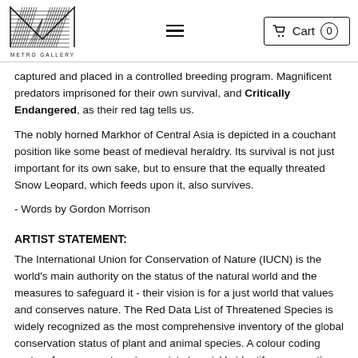Metro Gallery | Cart 0
captured and placed in a controlled breeding program. Magnificent predators imprisoned for their own survival, and Critically Endangered, as their red tag tells us.
The nobly horned Markhor of Central Asia is depicted in a couchant position like some beast of medieval heraldry. Its survival is not just important for its own sake, but to ensure that the equally threated Snow Leopard, which feeds upon it, also survives.
- Words by Gordon Morrison
ARTIST STATEMENT:
The International Union for Conservation of Nature (IUCN) is the world's main authority on the status of the natural world and the measures to safeguard it - their vision is for a just world that values and conserves nature. The Red Data List of Threatened Species is widely recognized as the most comprehensive inventory of the global conservation status of plant and animal species. A colour coding system for seven categories assists to quickly identify conservation status, from the Green coding for Least